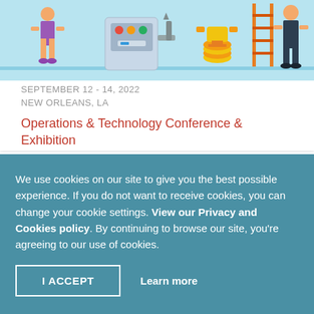[Figure (illustration): Cartoon illustration of people with machines, coins, and a ladder on a light blue background]
SEPTEMBER 12 - 14, 2022
NEW ORLEANS, LA
Operations & Technology Conference & Exhibition
We use cookies on our site to give you the best possible experience. If you do not want to receive cookies, you can change your cookie settings. View our Privacy and Cookies policy. By continuing to browse our site, you're agreeing to our use of cookies.
I ACCEPT
Learn more